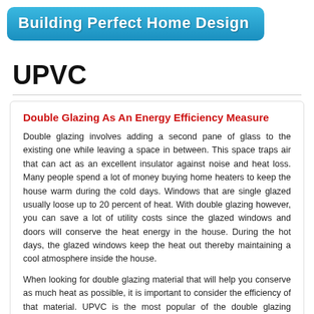Building Perfect Home Design
UPVC
Double Glazing As An Energy Efficiency Measure
Double glazing involves adding a second pane of glass to the existing one while leaving a space in between. This space traps air that can act as an excellent insulator against noise and heat loss. Many people spend a lot of money buying home heaters to keep the house warm during the cold days. Windows that are single glazed usually loose up to 20 percent of heat. With double glazing however, you can save a lot of utility costs since the glazed windows and doors will conserve the heat energy in the house. During the hot days, the glazed windows keep the heat out thereby maintaining a cool atmosphere inside the house.
When looking for double glazing material that will help you conserve as much heat as possible, it is important to consider the efficiency of that material. UPVC is the most popular of the double glazing materials; it comes in a wide range of